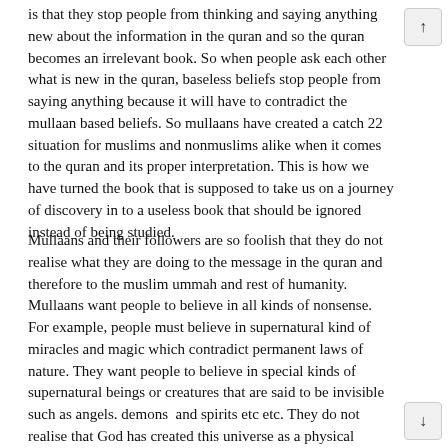is that they stop people from thinking and saying anything new about the information in the quran and so the quran becomes an irrelevant book. So when people ask each other what is new in the quran, baseless beliefs stop people from saying anything because it will have to contradict the mullaan based beliefs. So mullaans have created a catch 22 situation for muslims and nonmuslims alike when it comes to the quran and its proper interpretation. This is how we have turned the book that is supposed to take us on a journey of discovery in to a useless book that should be ignored instead of being studied.
Mullaans and their followers are so foolish that they do not realise what they are doing to the message in the quran and therefore to the muslim ummah and rest of humanity. Mullaans want people to believe in all kinds of nonsense. For example, people must believe in supernatural kind of miracles and magic which contradict permanent laws of nature. They want people to believe in special kinds of supernatural beings or creatures that are said to be invisible such as angels. demons and spirits etc etc. They do not realise that God has created this universe as a physical phenomenon in which all things from the smallest to the largest are physical or are made of matter and matter is merely frozen energy which keeps converting back and forth ie energy becomes matter and matter become energy ie photons to quarks to subatomic particles to atoms to molecules to element or compounds etc etc.